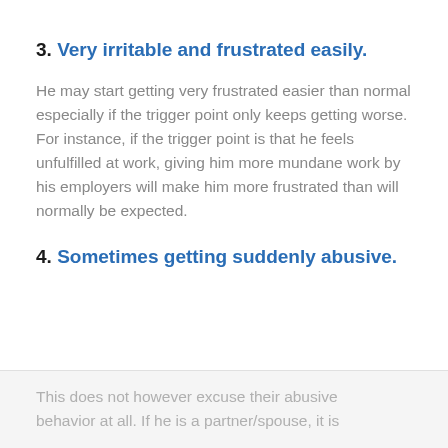3. Very irritable and frustrated easily.
He may start getting very frustrated easier than normal especially if the trigger point only keeps getting worse. For instance, if the trigger point is that he feels unfulfilled at work, giving him more mundane work by his employers will make him more frustrated than will normally be expected.
4. Sometimes getting suddenly abusive.
This does not however excuse their abusive behavior at all. If he is a partner/spouse, it is